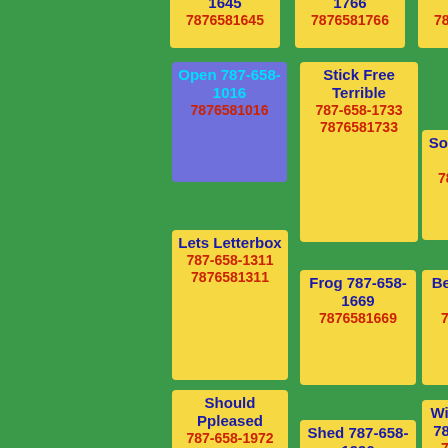1645 7876581645
1766 7876581766
1797 7876581797
Stick Free Terrible 787-658-1733 7876581733
Open 787-658-1016 7876581016
Sold 787-658-1201 7876581201
Lets Letterbox 787-658-1311 7876581311
Frog 787-658-1669 7876581669
Best 787-658-1360 7876581360
Should Ppleased 787-658-1972 7876581972
Shed 787-658-1996 7876581996
Wizardin Sign 787-658-1670 7876581670